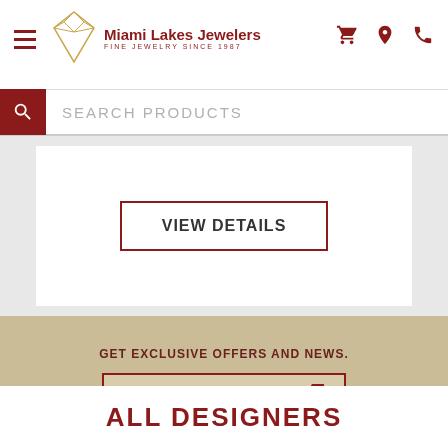[Figure (logo): Miami Lakes Jewelers logo with diamond shape and text 'Miami Lakes Jewelers Fine Jewelry Since 1987']
SEARCH PRODUCTS
VIEW DETAILS
GET EXCLUSIVE OFFERS AND NEWS.
Newsletter Signup
[Figure (infographic): Social media icons: Twitter, Facebook, Instagram, Pinterest, Snapchat]
ALL DESIGNERS